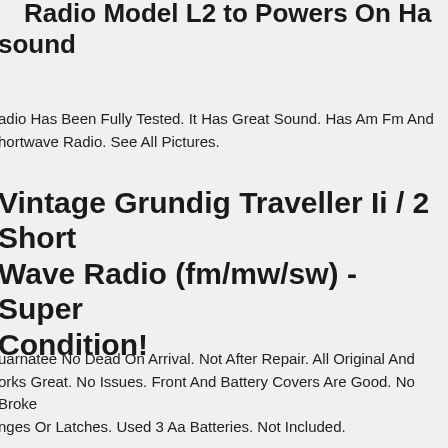Radio Model L2 to Powers On Ha sound
adio Has Been Fully Tested. It Has Great Sound. Has Am Fm And hortwave Radio. See All Pictures.
Vintage Grundig Traveller Ii / 2 Short Wave Radio (fm/mw/sw) - Super Condition!
uarnatee No Dead On Arrival. Not After Repair. All Original And orks Great. No Issues. Front And Battery Covers Are Good. No Broke nges Or Latches. Used 3 Aa Batteries. Not Included.
ntage Grundig Elite-boy L203 Radio As Is.
Grundig 4050 Vintage Radio | Original